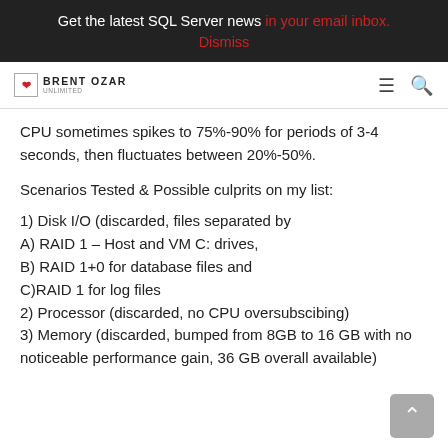Get the latest SQL Server news in your email inbox. Dismiss
[Figure (logo): Brent Ozar Unlimited logo with hamburger menu and search icon]
CPU sometimes spikes to 75%-90% for periods of 3-4 seconds, then fluctuates between 20%-50%.
Scenarios Tested & Possible culprits on my list:
1) Disk I/O (discarded, files separated by
A) RAID 1 – Host and VM C: drives,
B) RAID 1+0 for database files and
C)RAID 1 for log files
2) Processor (discarded, no CPU oversubscibing)
3) Memory (discarded, bumped from 8GB to 16 GB with no noticeable performance gain, 36 GB overall available)